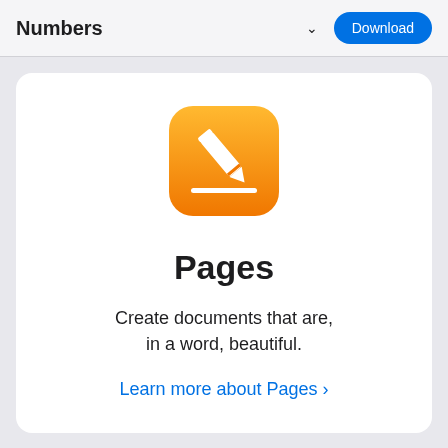Numbers
[Figure (logo): Pages app icon: orange gradient rounded square with white pen/pencil icon]
Pages
Create documents that are, in a word, beautiful.
Learn more about Pages >